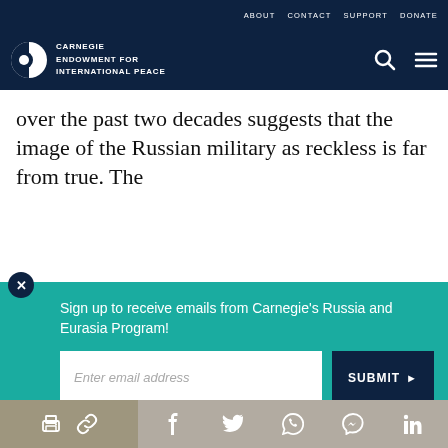ABOUT   CONTACT   SUPPORT   DONATE
[Figure (logo): Carnegie Endowment for International Peace logo with circular icon and white text on dark navy background, with search and menu icons]
over the past two decades suggests that the image of the Russian military as reckless is far from true. The
[Figure (screenshot): Email signup modal overlay with teal background: 'Sign up to receive emails from Carnegie’s Russia and Eurasia Program!' with email input field and SUBMIT button]
our cookie policy.
Share icons: print, link, Facebook, Twitter, WhatsApp, Messenger, LinkedIn